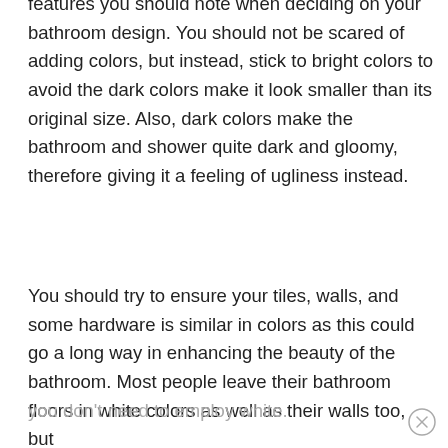features you should note when deciding on your bathroom design. You should not be scared of adding colors, but instead, stick to bright colors to avoid the dark colors make it look smaller than its original size. Also, dark colors make the bathroom and shower quite dark and gloomy, therefore giving it a feeling of ugliness instead.
You should try to ensure your tiles, walls, and some hardware is similar in colors as this could go a long way in enhancing the beauty of the bathroom. Most people leave their bathroom floors in white colors as well as their walls too, but
you don't need to employ white.